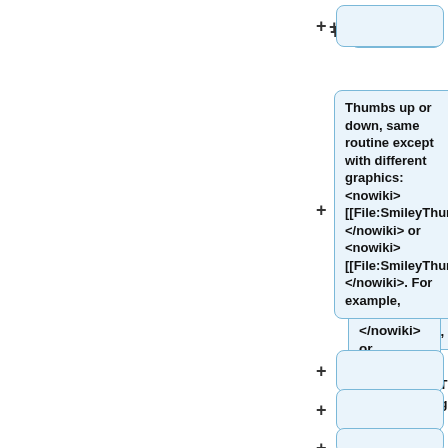[Figure (screenshot): Diff/edit view showing rows with plus signs and light blue rounded boxes. Top row has a plus sign and empty box. Middle row has a plus sign and a large box with bold text about thumbs up/down routine with wiki markup. Bottom rows have plus signs and empty boxes.]
Thumbs up or down, same routine except with different graphics: <nowiki> [[File:SmileyThumbsUp.jpg|right]] </nowiki> or <nowiki> [[File:SmileyThumbsDown.jpg|right]]</nowiki>. For example,